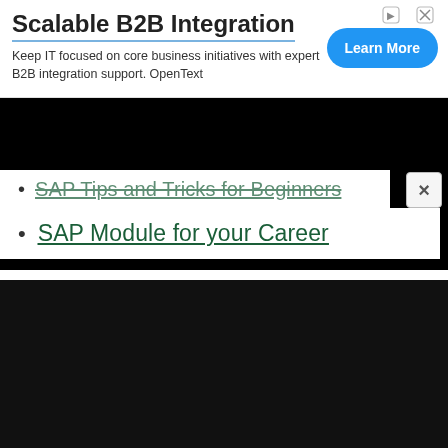[Figure (screenshot): Advertisement banner for Scalable B2B Integration by OpenText with a Learn More button]
SAP Tips and Tricks for Beginners (partially visible, struck through)
SAP Module for your Career